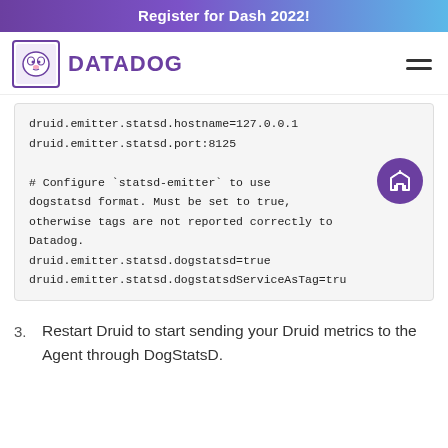Register for Dash 2022!
[Figure (logo): Datadog logo with dog icon and DATADOG wordmark in purple]
druid.emitter.statsd.hostname=127.0.0.1
druid.emitter.statsd.port:8125

# Configure `statsd-emitter` to use dogstatsd format. Must be set to true, otherwise tags are not reported correctly to Datadog.
druid.emitter.statsd.dogstatsd=true
druid.emitter.statsd.dogstatsdServiceAsTag=tru
3. Restart Druid to start sending your Druid metrics to the Agent through DogStatsD.